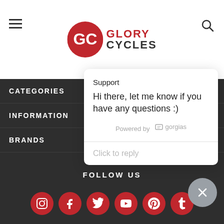[Figure (logo): Glory Cycles logo with red GC circle and text]
CATEGORIES
INFORMATION
BRANDS
Support
Hi there, let me know if you have any questions :)
Powered by gorgias
Click to reply
FOLLOW US
[Figure (infographic): Social media icons row: Instagram, Facebook, Twitter, YouTube, Pinterest, Tumblr]